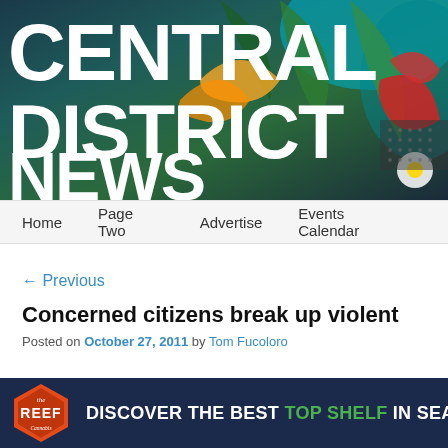[Figure (screenshot): Central District News website header banner with colorful mural artwork in the background featuring tropical birds and flowers. Large white bold text reads 'CENTRAL DISTRICT NEWS'.]
Home   Page Two   Advertise   Events Calendar
← Previous
Concerned citizens break up violent
Posted on October 27, 2011 by Tom Fucoloro
[Figure (other): Advertisement banner with dark blue background. The Reef Cannabis logo (orange hexagon badge) on the left. Text reads: DISCOVER THE BEST TOP SHELF IN SEATTLE]